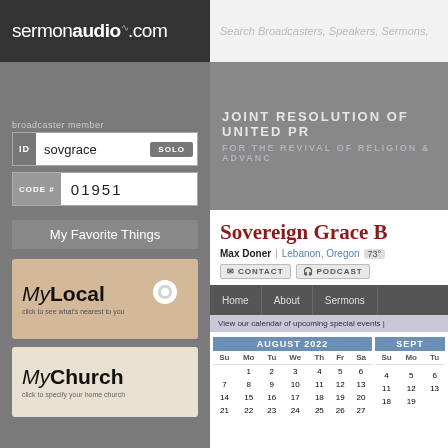sermonaudio.com | Search Broadcasters, Speakers, Sermons,
broadcaster member
ID  sovgrace  SOLO
CODE #  01951
My Favorite Things
[Figure (logo): MyLocal logo with map pin icon and text: click to see what's nearest to you]
[Figure (logo): MyChurch logo with text: click to specify your home church]
JOINT RESOLUTION OF UNITED PR
FOR THE REVIVAL OF RELIGION & ADVANC
Sovereign Grace B
Max Doner | Lebanon, Oregon  73°
CONTACT  PODCAST
Home  About  Sermons
View our calendar of upcoming special events  |
| Su | Mo | Tu | We | Th | Fr | Sa |
| --- | --- | --- | --- | --- | --- | --- |
|  | 1 | 2 | 3 | 4 | 5 | 6 |
| 7 | 8 | 9 | 10 | 11 | 12 | 13 |
| 14 | 15 | 16 | 17 | 18 | 19 | 20 |
| 21 | 22 | 23 | 24 | 25 | 26 | 27 |
| Su | Mo | Tu |
| --- | --- | --- |
|  |  |  |
| 4 | 5 | 6 |
| 11 | 12 | 13 |
| 18 | 19 |  |